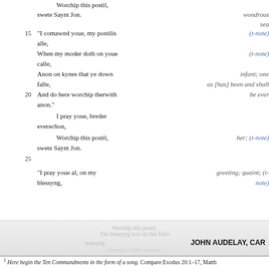Worchip this postil,
swete Saynt Jon. [wondrous / sea]
15 "I comawnd youe, my postilis (t-note)
alle,
When my moder doth on youe (t-note)
calle,
Anon on kynes that ye down [infant; one
falle, as [has] been and shall
20 And do here worchip therwith be ever
anon."
I pray youe, breder
everechon,
Worchip this postil, her; (t-note)
swete Saynt Jon.
25
"I pray youe al, on my greeting; quaint; (t-note)
blessyng,
JOHN AUDELAY, CAR
1 Here begin the Ten Commandments in the form of a song. Compare Exodus 20:1–17, Matth